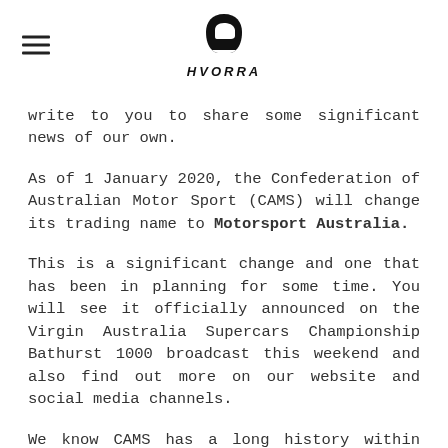HVORRA logo and hamburger menu
write to you to share some significant news of our own.
As of 1 January 2020, the Confederation of Australian Motor Sport (CAMS) will change its trading name to Motorsport Australia.
This is a significant change and one that has been in planning for some time. You will see it officially announced on the Virgin Australia Supercars Championship Bathurst 1000 broadcast this weekend and also find out more on our website and social media channels.
We know CAMS has a long history within motorsport in Australia and that won't change – we are not planning on pushing that history to